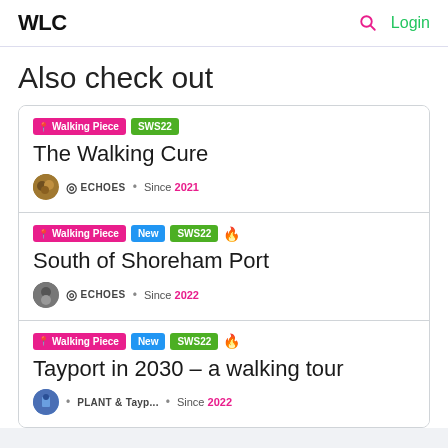WLC  🔍  Login
Also check out
Walking Piece | SWS22 | The Walking Cure | ECHOES • Since 2021
Walking Piece | New | SWS22 | 🔥 | South of Shoreham Port | ECHOES • Since 2022
Walking Piece | New | SWS22 | 🔥 | Tayport in 2030 – a walking tour | PLANT & Tayp... • Since 2022